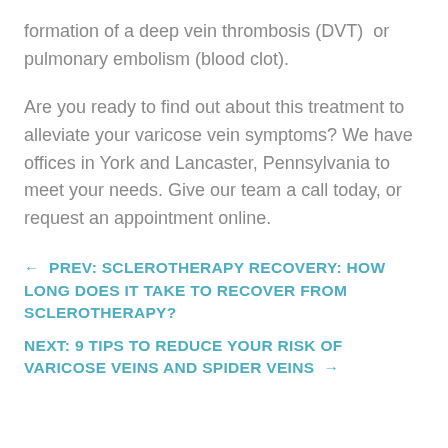formation of a deep vein thrombosis (DVT) or pulmonary embolism (blood clot).
Are you ready to find out about this treatment to alleviate your varicose vein symptoms? We have offices in York and Lancaster, Pennsylvania to meet your needs. Give our team a call today, or request an appointment online.
← PREV: SCLEROTHERAPY RECOVERY: HOW LONG DOES IT TAKE TO RECOVER FROM SCLEROTHERAPY?
NEXT: 9 TIPS TO REDUCE YOUR RISK OF VARICOSE VEINS AND SPIDER VEINS →